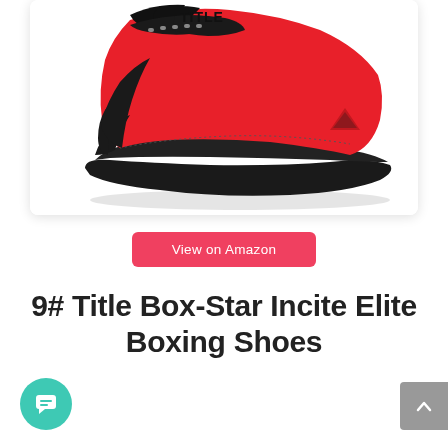[Figure (photo): Red and black Title boxing shoe (low-top) viewed from the side, with red upper and black suede/rubber accents and a triangle logo on the side.]
View on Amazon
9# Title Box-Star Incite Elite Boxing Shoes